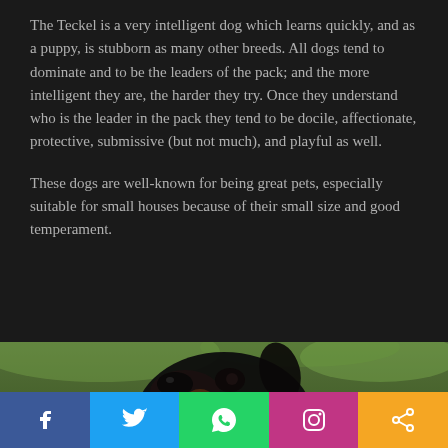The Teckel is a very intelligent dog which learns quickly, and as a puppy, is stubborn as many other breeds. All dogs tend to dominate and to be the leaders of the pack; and the more intelligent they are, the harder they try. Once they understand who is the leader in the pack they tend to be docile, affectionate, protective, submissive (but not much), and playful as well.
These dogs are well-known for being great pets, especially suitable for small houses because of their small size and good temperament.
[Figure (photo): Close-up photo of a black Dachshund (Teckel) dog looking upward, against a blurred green background]